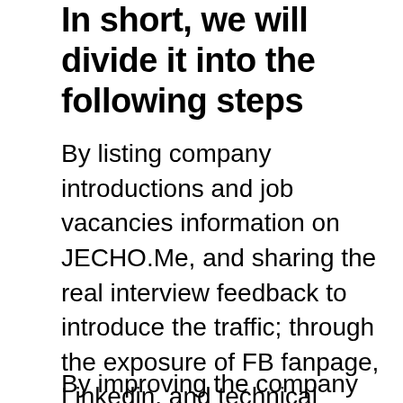In short, we will divide it into the following steps
By listing company introductions and job vacancies information on JECHO.Me, and sharing the real interview feedback to introduce the traffic; through the exposure of FB fanpage, Linkedin, and technical groups on FB, we can directly establish perfect connections with candidates and thus attracting interested people to submit their resumes.
By improving the company introduction,